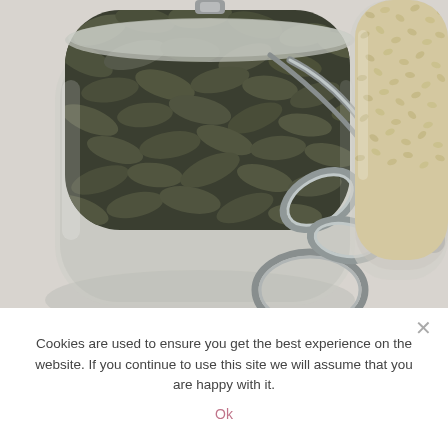[Figure (photo): Close-up photograph of two glass jars with metal bail-top clamp lids on a light grey surface. The left jar, larger and open, contains dark grey-green pumpkin seeds. The right jar partially visible contains sesame seeds or similar small beige grain. The metal wire clamp mechanism is prominently visible in the foreground center.]
Cookies are used to ensure you get the best experience on the website. If you continue to use this site we will assume that you are happy with it.
Ok